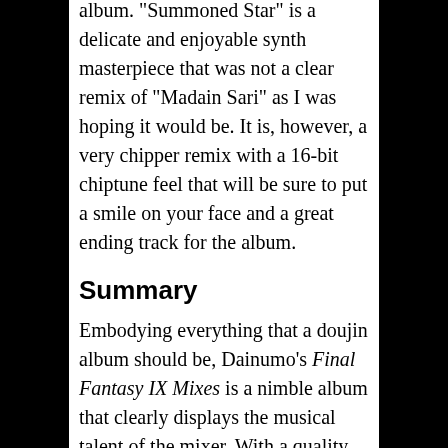album. "Summoned Star" is a delicate and enjoyable synth masterpiece that was not a clear remix of “Madain Sari” as I was hoping it would be. It is, however, a very chipper remix with a 16-bit chiptune feel that will be sure to put a smile on your face and a great ending track for the album.
Summary
Embodying everything that a doujin album should be, Dainumo’s Final Fantasy IX Mixes is a nimble album that clearly displays the musical talent of the mixer. With a quality offering of five, dreamy tracks clocking in at a 15 minute run time and a “name your price” price of, well, free to $10,000 (if you want to be Dainumo’s best friend), it’s hard not to like Final Fantasy IX Mixes. By taking obscure tracks from a b-side game of the Final Fantasy franchise (that I happen to love), and